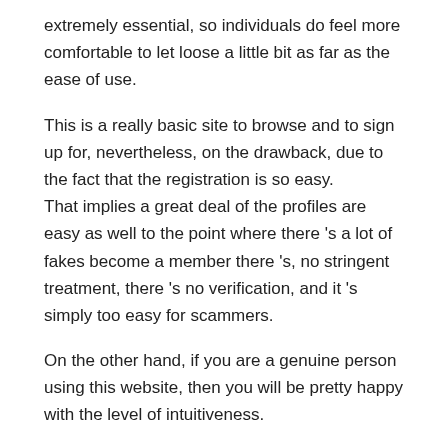extremely essential, so individuals do feel more comfortable to let loose a little bit as far as the ease of use.
This is a really basic site to browse and to sign up for, nevertheless, on the drawback, due to the fact that the registration is so easy. That implies a great deal of the profiles are easy as well to the point where there 's a lot of fakes become a member there 's, no stringent treatment, there 's no verification, and it 's simply too easy for scammers.
On the other hand, if you are a genuine person using this website, then you will be pretty happy with the level of intuitiveness.
Everything is basically easy and self-explanatory to grasp.
Overall, the website does look contemporary and cool, however there is no rejecting the issue with phony profiles.